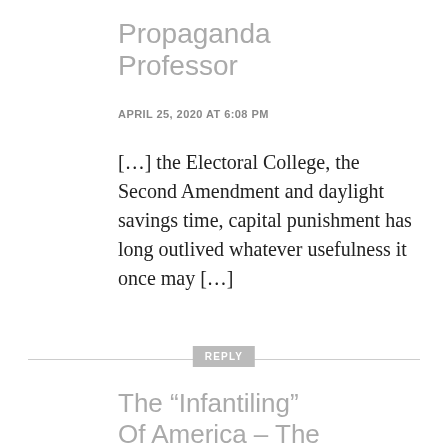Propaganda Professor
APRIL 25, 2020 AT 6:08 PM
[…] the Electoral College, the Second Amendment and daylight savings time, capital punishment has long outlived whatever usefulness it once may […]
REPLY
The “Infantiling” Of America – The Propaganda Professor